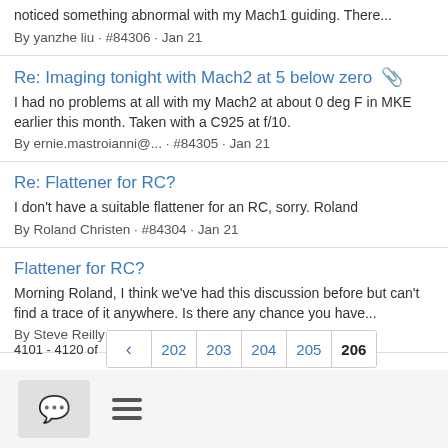noticed something abnormal with my Mach1 guiding. There...
By yanzhe liu · #84306 · Jan 21
Re: Imaging tonight with Mach2 at 5 below zero 📎
I had no problems at all with my Mach2 at about 0 deg F in MKE earlier this month. Taken with a C925 at f/10.
By ernie.mastroianni@... · #84305 · Jan 21
Re: Flattener for RC?
I don't have a suitable flattener for an RC, sorry. Roland
By Roland Christen · #84304 · Jan 21
Flattener for RC?
Morning Roland, I think we've had this discussion before but can't find a trace of it anywhere. Is there any chance you have...
By Steve Reilly · #84303 · Jan 21
4101 - 4120 of
202 203 204 205 206